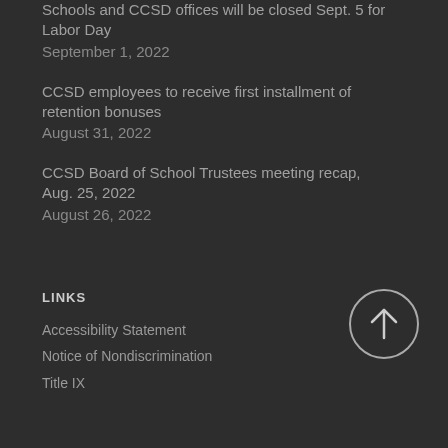Schools and CCSD offices will be closed Sept. 5 for Labor Day
September 1, 2022
CCSD employees to receive first installment of retention bonuses
August 31, 2022
CCSD Board of School Trustees meeting recap, Aug. 25, 2022
August 26, 2022
LINKS
Accessibility Statement
Notice of Nondiscrimination
Title IX